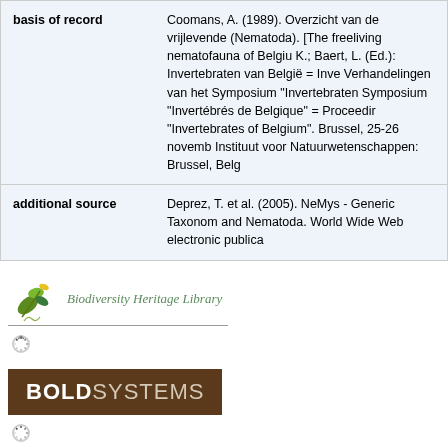|  |  |
| --- | --- |
| basis of record | Coomans, A. (1989). Overzicht van de vrijlevende (Nematoda). [The freeliving nematofauna of Belgiu K.; Baert, L. (Ed.): Invertebraten van België = Inve Verhandelingen van het Symposium "Invertebraten Symposium "Invertébrés de Belgique" = Proceedir "Invertebrates of Belgium". Brussel, 25-26 novemb Instituut voor Natuurwetenschappen: Brussel, Belg |
| additional source | Deprez, T. et al. (2005). NeMys - Generic Taxonom and Nematoda. World Wide Web electronic publica |
[Figure (logo): Biodiversity Heritage Library logo with leaf/plant icon and italic text]
[Figure (logo): BOLD Systems logo - dark brown banner with BOLD in white bold and SYSTEMS in light text]
Genbank
Taxonomy
NeMys
WoRMS